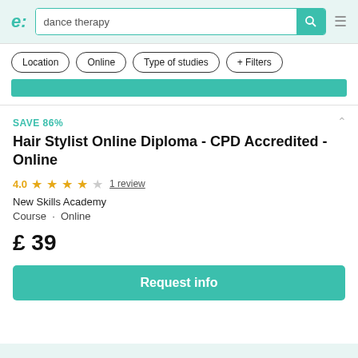[Figure (screenshot): Emagister education platform header with logo, search bar containing 'dance therapy', search button, and hamburger menu]
Location · Online · Type of studies · + Filters
SAVE 86%
Hair Stylist Online Diploma - CPD Accredited - Online
4.0 ★★★★☆ 1 review
New Skills Academy
Course · Online
£ 39
Request info